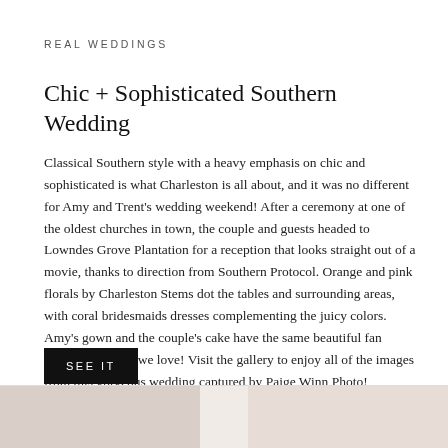REAL WEDDINGS
Chic + Sophisticated Southern Wedding
Classical Southern style with a heavy emphasis on chic and sophisticated is what Charleston is all about, and it was no different for Amy and Trent's wedding weekend! After a ceremony at one of the oldest churches in town, the couple and guests headed to Lowndes Grove Plantation for a reception that looks straight out of a movie, thanks to direction from Southern Protocol. Orange and pink florals by Charleston Stems dot the tables and surrounding areas, with coral bridesmaids dresses complementing the juicy colors. Amy's gown and the couple's cake have the same beautiful fan pattern—a detail we love! Visit the gallery to enjoy all of the images from this gorgeous wedding captured by Paige Winn Photo!
SEE IT
[Figure (photo): Two partial wedding photos visible at the bottom of the page, cut off by the page boundary.]